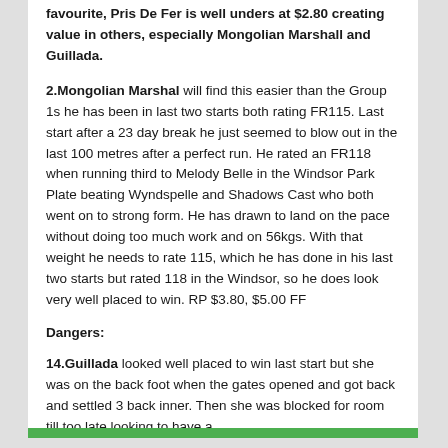favourite, Pris De Fer is well unders at $2.80 creating value in others, especially Mongolian Marshall and Guillada.
2.Mongolian Marshal will find this easier than the Group 1s he has been in last two starts both rating FR115. Last start after a 23 day break he just seemed to blow out in the last 100 metres after a perfect run. He rated an FR118 when running third to Melody Belle in the Windsor Park Plate beating Wyndspelle and Shadows Cast who both went on to strong form. He has drawn to land on the pace without doing too much work and on 56kgs. With that weight he needs to rate 115, which he has done in his last two starts but rated 118 in the Windsor, so he does look very well placed to win. RP $3.80, $5.00 FF
Dangers:
14.Guillada looked well placed to win last start but she was on the back foot when the gates opened and got back and settled 3 back inner. Then she was blocked for room till too late looking to have a